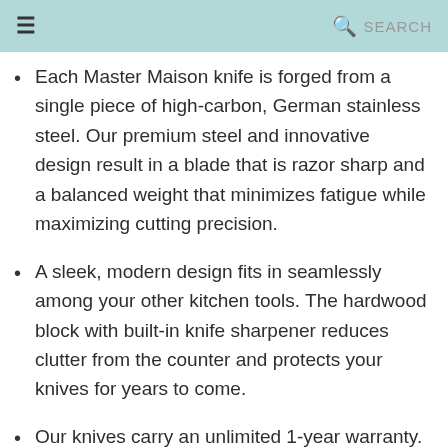≡   🔍 SEARCH
Each Master Maison knife is forged from a single piece of high-carbon, German stainless steel. Our premium steel and innovative design result in a blade that is razor sharp and a balanced weight that minimizes fatigue while maximizing cutting precision.
A sleek, modern design fits in seamlessly among your other kitchen tools. The hardwood block with built-in knife sharpener reduces clutter from the counter and protects your knives for years to come.
Our knives carry an unlimited 1-year warranty. We recommend hand washing and promptly drying your knives after usage to protect their sharpness and glossiness. If you ever have an issue, reach out to our customer service team.